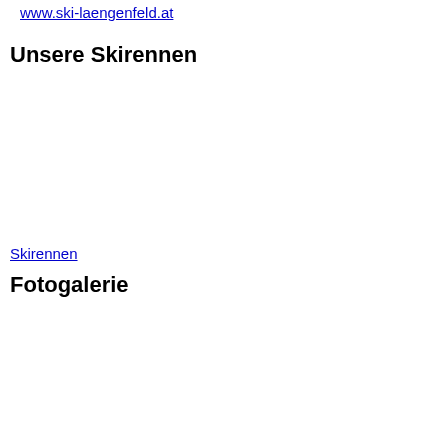www.ski-laengenfeld.at
Unsere Skirennen
Skirennen
Fotogalerie